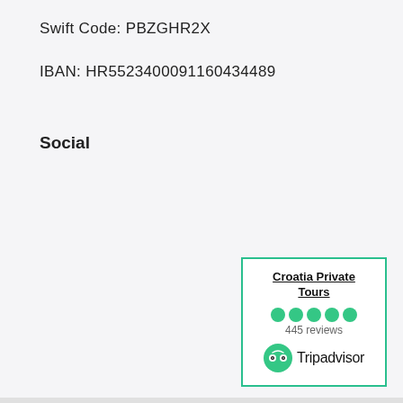Swift Code: PBZGHR2X
IBAN: HR5523400091160434489
Social
[Figure (logo): TripAdvisor widget showing Croatia Private Tours with 5 green dots, 445 reviews, and the TripAdvisor logo]